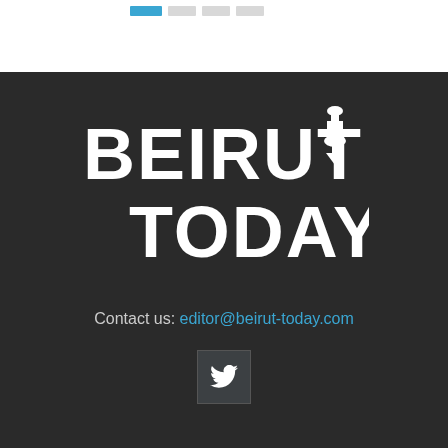[Figure (logo): Navigation buttons at top: one active blue button and three inactive grey buttons in a row]
[Figure (logo): Beirut Today logo in white bold text on dark background with a lighthouse/tower icon]
Contact us: editor@beirut-today.com
[Figure (logo): Twitter bird icon in a dark square button]